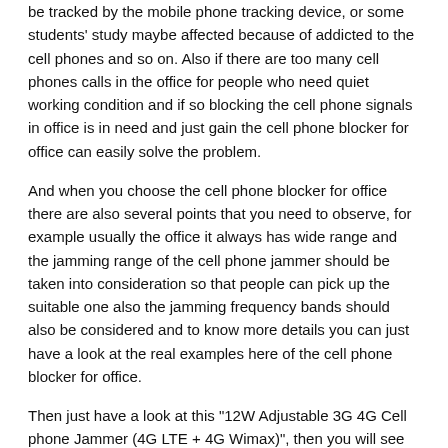be tracked by the mobile phone tracking device, or some students' study maybe affected because of addicted to the cell phones and so on. Also if there are too many cell phones calls in the office for people who need quiet working condition and if so blocking the cell phone signals in office is in need and just gain the cell phone blocker for office can easily solve the problem.
And when you choose the cell phone blocker for office there are also several points that you need to observe, for example usually the office it always has wide range and the jamming range of the cell phone jammer should be taken into consideration so that people can pick up the suitable one also the jamming frequency bands should also be considered and to know more details you can just have a look at the real examples here of the cell phone blocker for office.
Then just have a look at this "12W Adjustable 3G 4G Cell phone Jammer (4G LTE + 4G Wimax)", then you will see that this cell phone jammer for office can cut off the signals of the CDMA, GSM, DCS, PCS, 3G, 4G LTE and also 4G Wimax at the same time with up to 40 meters jamming distance according to the signal strength in the given area. Besides since using the adjustable button you can decide the jamming frequency bands and the jamming distance of the jammer according to you requirements which is also an excellent designed and well welcomed by a lot of users now. Thus this cell phone blocker is also designed with good cooling system so that you do not need to worry that it will produce high temperature and do harm to the device while working, in this way it can support continuously working.
This is just one types of the cell phone blockers for office here at